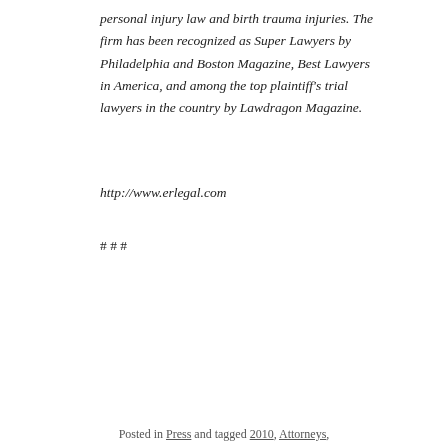personal injury law and birth trauma injuries. The firm has been recognized as Super Lawyers by Philadelphia and Boston Magazine, Best Lawyers in America, and among the top plaintiff's trial lawyers in the country by Lawdragon Magazine.
http://www.erlegal.com
# # #
Posted in Press and tagged 2010, Attorneys,